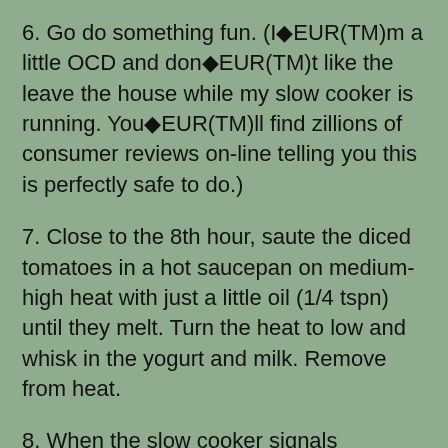6. Go do something fun. (I◆EUR(TM)m a little OCD and don◆EUR(TM)t like the leave the house while my slow cooker is running. You◆EUR(TM)ll find zillions of consumer reviews on-line telling you this is perfectly safe to do.)
7. Close to the 8th hour, saute the diced tomatoes in a hot saucepan on medium-high heat with just a little oil (1/4 tspn) until they melt. Turn the heat to low and whisk in the yogurt and milk. Remove from heat.
8. When the slow cooker signals it◆EUR(TM)s complete, stir the tomato mixture in and add salt to taste. If your lentils still feel a little undercooked, don◆EUR(TM)t be embarrassed to